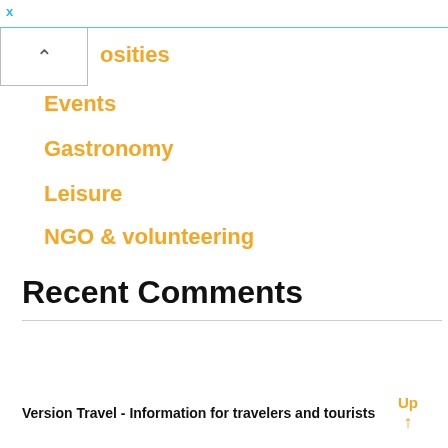x
osities
Events
Gastronomy
Leisure
NGO & volunteering
Transport
Travel guides
Traveler help
Recent Comments
Version Travel - Information for travelers and tourists  Up ↑